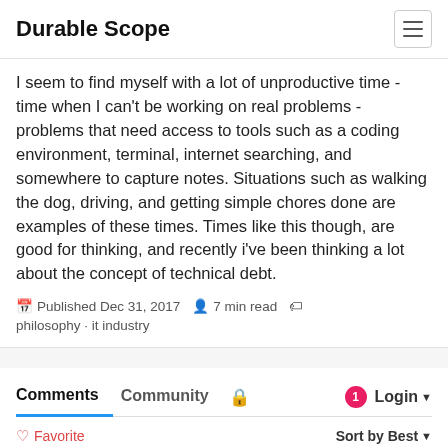Durable Scope
I seem to find myself with a lot of unproductive time - time when I can't be working on real problems - problems that need access to tools such as a coding environment, terminal, internet searching, and somewhere to capture notes. Situations such as walking the dog, driving, and getting simple chores done are examples of these times. Times like this though, are good for thinking, and recently i've been thinking a lot about the concept of technical debt.
Published Dec 31, 2017  7 min read  philosophy · it industry
Comments  Community  🔒  1  Login
♡ Favorite  Sort by Best
Start the discussion…
LOG IN WITH